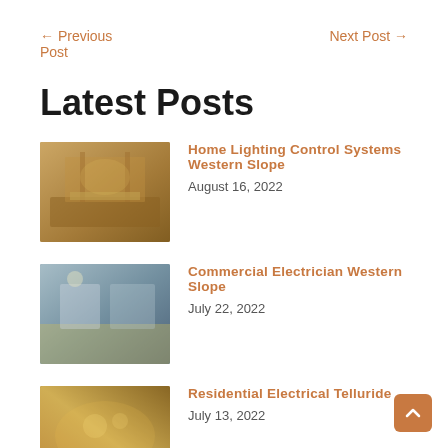← Previous Post
Next Post →
Latest Posts
Home Lighting Control Systems Western Slope | August 16, 2022
Commercial Electrician Western Slope | July 22, 2022
Residential Electrical Telluride | July 13, 2022